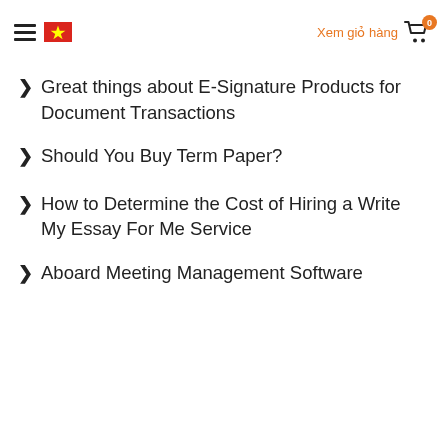≡ [VN flag] Xem giỏ hàng 🛒 0
Great things about E-Signature Products for Document Transactions
Should You Buy Term Paper?
How to Determine the Cost of Hiring a Write My Essay For Me Service
Aboard Meeting Management Software